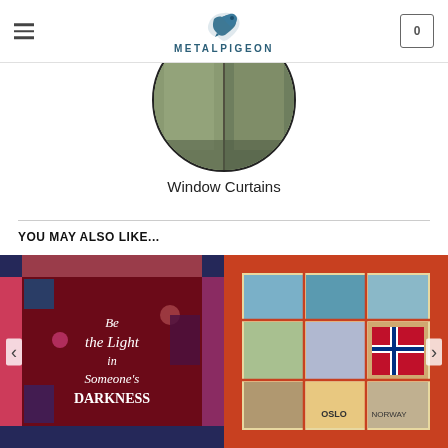METALPIGEON
[Figure (photo): Circular cropped photo of window curtains with nature/landscape scene]
Window Curtains
YOU MAY ALSO LIKE...
[Figure (photo): Nurse-themed quilt with text 'Be the Light in Someone's Darkness']
[Figure (photo): Norway/Oslo travel-themed quilt with Norwegian flag and city panels]